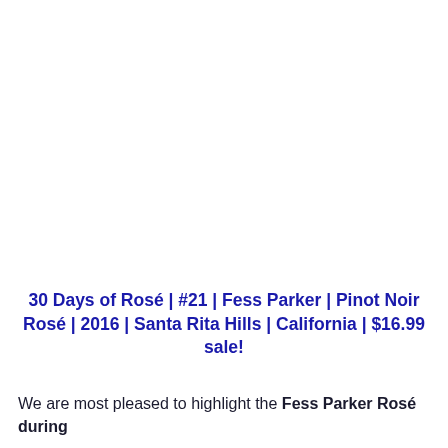30 Days of Rosé | #21 | Fess Parker | Pinot Noir Rosé | 2016 | Santa Rita Hills | California | $16.99 sale!
We are most pleased to highlight the Fess Parker Rosé during